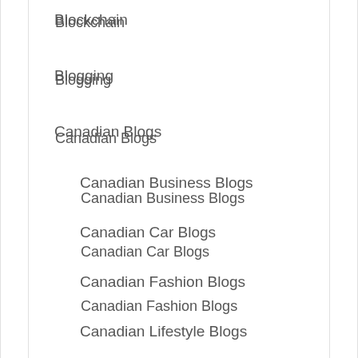Blockchain
Blogging
Canadian Blogs
Canadian Business Blogs
Canadian Car Blogs
Canadian Fashion Blogs
Canadian Lifestyle Blogs
Canadian Local Business Blogs
Canadian News Blogs
Canadian Parenting Blogs
Canadian Travel Blogs
Canadian Wedding Blogs